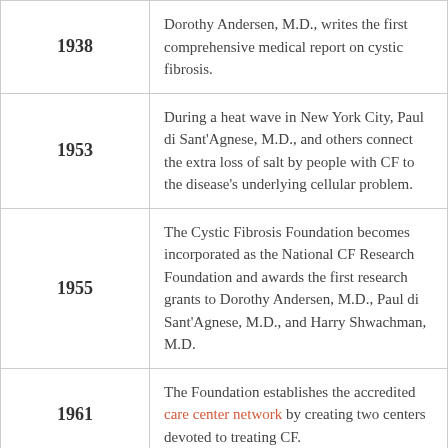| Year | Event |
| --- | --- |
| 1938 | Dorothy Andersen, M.D., writes the first comprehensive medical report on cystic fibrosis. |
| 1953 | During a heat wave in New York City, Paul di Sant'Agnese, M.D., and others connect the extra loss of salt by people with CF to the disease's underlying cellular problem. |
| 1955 | The Cystic Fibrosis Foundation becomes incorporated as the National CF Research Foundation and awards the first research grants to Dorothy Andersen, M.D., Paul di Sant'Agnese, M.D., and Harry Shwachman, M.D. |
| 1961 | The Foundation establishes the accredited care center network by creating two centers devoted to treating CF. |
| 1962 | The CF predicted median survival age reaches 10 years. |
| 1962 | A total of 30 Foundation-accredited care centers are in operation. |